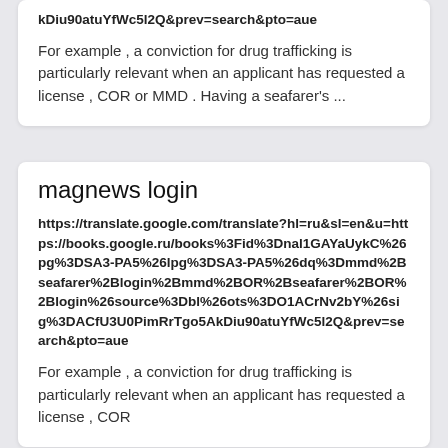kDiu90atuYfWc5l2Q&prev=search&pto=aue
For example , a conviction for drug trafficking is particularly relevant when an applicant has requested a license , COR or MMD . Having a seafarer's ...
magnews login
https://translate.google.com/translate?hl=ru&sl=en&u=https://books.google.ru/books%3Fid%3Dnal1GAYaUykC%26pg%3DSA3-PA5%26lpg%3DSA3-PA5%26dq%3Dmmd%2Bseafarer%2Blogin%2Bmmd%2BOR%2Bseafarer%2BOR%2Blogin%26source%3Dbl%26ots%3DO1ACrNv2bY%26sig%3DACfU3U0PimRrTgo5AkDiu90atuYfWc5l2Q&prev=search&pto=aue
For example , a conviction for drug trafficking is particularly relevant when an applicant has requested a license , COR